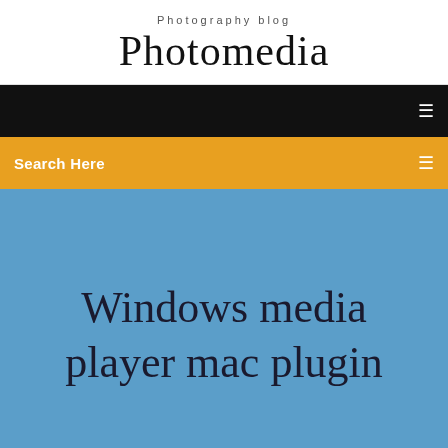Photography blog
Photomedia
[Figure (screenshot): Black navigation bar with a small icon on the right]
Search Here
Windows media player mac plugin